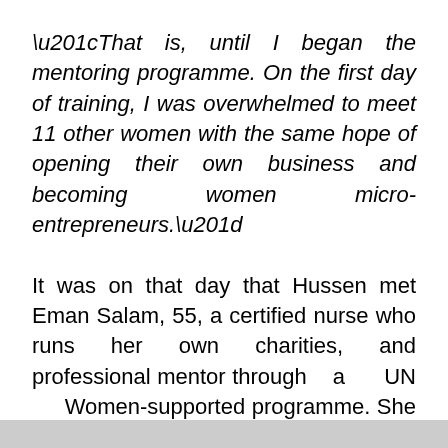“That is, until I began the mentoring programme. On the first day of training, I was overwhelmed to meet 11 other women with the same hope of opening their own business and becoming women micro-entrepreneurs.”
It was on that day that Hussen met Eman Salam, 55, a certified nurse who runs her own charities, and professional mentor through a UN Women-supported programme. She also runs a successful community initiative to assist children.